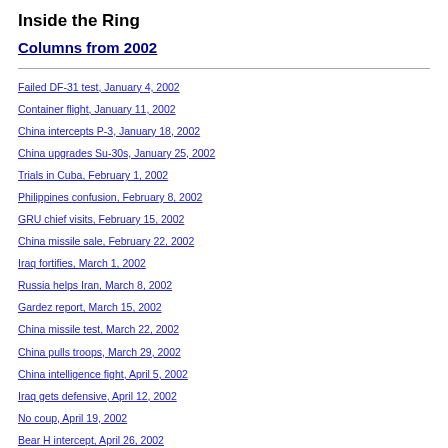Inside the Ring
Columns from 2002
Failed DF-31 test, January 4, 2002
Container flight, January 11, 2002
China intercepts P-3, January 18, 2002
China upgrades Su-30s, January 25, 2002
Trials in Cuba, February 1, 2002
Philippines confusion, February 8, 2002
GRU chief visits, February 15, 2002
China missile sale, February 22, 2002
Iraq fortifies, March 1, 2002
Russia helps Iran, March 8, 2002
Gardez report, March 15, 2002
China missile test, March 22, 2002
China pulls troops, March 29, 2002
China intelligence fight, April 5, 2002
Iraq gets defensive, April 12, 2002
No coup, April 19, 2002
Bear H intercept, April 26, 2002